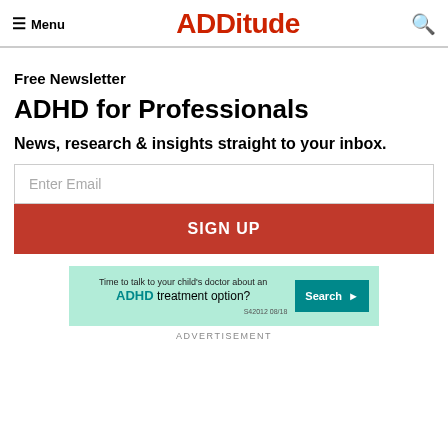≡ Menu  ADDitude  🔍
Free Newsletter
ADHD for Professionals
News, research & insights straight to your inbox.
[Figure (screenshot): Email input field with placeholder 'Enter Email' and a red SIGN UP button below]
[Figure (infographic): Advertisement banner with mint green background. Text: 'Time to talk to your child's doctor about an ADHD treatment option?' with a teal Search button and stamp S42012 08/18]
ADVERTISEMENT